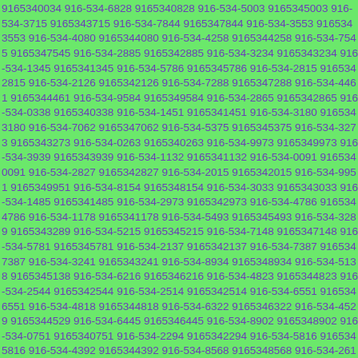9165340034 916-534-6828 9165340828 916-534-5003 9165345003 916-534-3715 9165343715 916-534-7844 9165347844 916-534-3553 9165343553 916-534-4080 9165344080 916-534-4258 9165344258 916-534-7545 9165347545 916-534-2885 9165342885 916-534-3234 9165343234 916-534-1345 9165341345 916-534-5786 9165345786 916-534-2815 9165342815 916-534-2126 9165342126 916-534-7288 9165347288 916-534-4461 9165344461 916-534-9584 9165349584 916-534-2865 9165342865 916-534-0338 9165340338 916-534-1451 9165341451 916-534-3180 9165343180 916-534-7062 9165347062 916-534-5375 9165345375 916-534-3273 9165343273 916-534-0263 9165340263 916-534-9973 9165349973 916-534-3939 9165343939 916-534-1132 9165341132 916-534-0091 9165340091 916-534-2827 9165342827 916-534-2015 9165342015 916-534-9951 9165349951 916-534-8154 9165348154 916-534-3033 9165343033 916-534-1485 9165341485 916-534-2973 9165342973 916-534-4786 9165344786 916-534-1178 9165341178 916-534-5493 9165345493 916-534-3289 9165343289 916-534-5215 9165345215 916-534-7148 9165347148 916-534-5781 9165345781 916-534-2137 9165342137 916-534-7387 9165347387 916-534-3241 9165343241 916-534-8934 9165348934 916-534-5138 9165345138 916-534-6216 9165346216 916-534-4823 9165344823 916-534-2544 9165342544 916-534-2514 9165342514 916-534-6551 9165346551 916-534-4818 9165344818 916-534-6322 9165346322 916-534-4529 9165344529 916-534-6445 9165346445 916-534-8902 9165348902 916-534-0751 9165340751 916-534-2294 9165342294 916-534-5816 9165345816 916-534-4392 9165344392 916-534-8568 9165348568 916-534-2617 9165342617